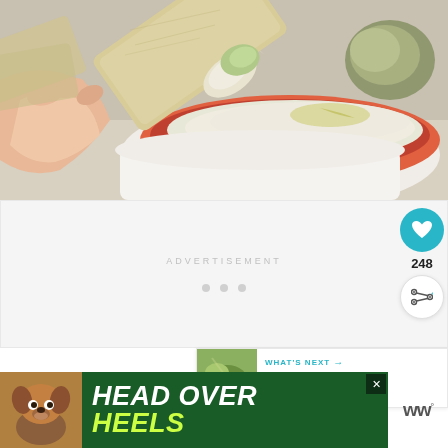[Figure (photo): Close-up food photo of a hand holding a pita cracker dipping into a bowl of creamy white dip (hummus or similar) with olive oil drizzled on top, garnished with herbs. The bowl is terracotta/orange colored.]
ADVERTISEMENT
[Figure (other): Three loading dots indicating an advertisement is loading]
[Figure (other): Heart/like button (teal circle with white heart icon) with count 248 below it, and a share button below that]
248
[Figure (other): WHAT'S NEXT panel showing a thumbnail of a salad and text 'Beet and Blue Cheese Sala...']
[Figure (other): Banner advertisement with dark green background, dog image, and bold white/yellow italic text reading HEAD OVER HEELS]
[Figure (logo): WW (Weight Watchers) logo with degree symbol]